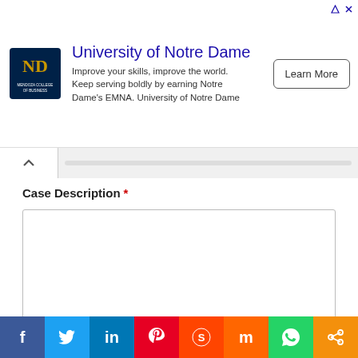[Figure (other): University of Notre Dame advertisement banner with logo, tagline text, and Learn More button]
Case Description *
[Figure (other): Empty text area input box for Case Description]
Next
Search For
1. Do I Qualify For Disability Benefits
[Figure (other): Social sharing bar with icons for Facebook, Twitter, LinkedIn, Pinterest, Reddit, Mix, WhatsApp, and Share]